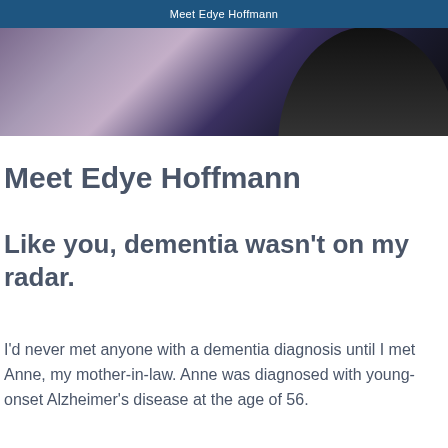Meet Edye Hoffmann
[Figure (photo): Photo of a person in dark clothing against a blurred purple and dark background, partially cropped.]
Meet Edye Hoffmann
Like you, dementia wasn't on my radar.
I'd never met anyone with a dementia diagnosis until I met Anne, my mother-in-law. Anne was diagnosed with young-onset Alzheimer's disease at the age of 56.